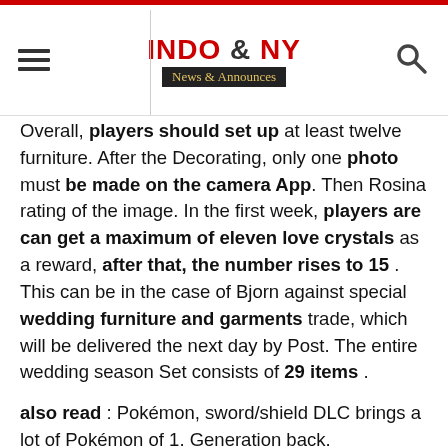INDO & NY News & Announces
Overall, players should set up at least twelve furniture. After the Decorating, only one photo must be made on the camera App. Then Rosina rating of the image. In the first week, players are can get a maximum of eleven love crystals as a reward, after that, the number rises to 15 . This can be in the case of Bjorn against special wedding furniture and garments trade, which will be delivered the next day by Post. The entire wedding season Set consists of 29 items .
also read : Pokémon, sword/shield DLC brings a lot of Pokémon of 1. Generation back.
"Animal Crossing: New Horizons":